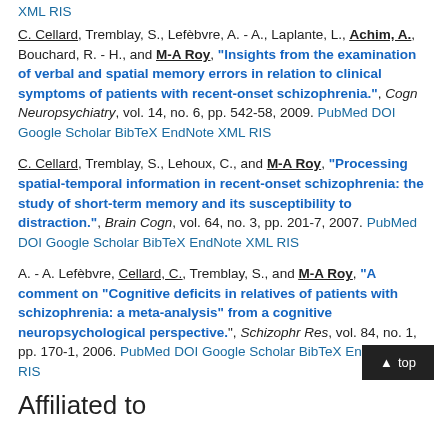XML  RIS
C. Cellard, Tremblay, S., Lefèbvre, A. - A., Laplante, L., Achim, A., Bouchard, R. - H., and M-A Roy, "Insights from the examination of verbal and spatial memory errors in relation to clinical symptoms of patients with recent-onset schizophrenia.", Cogn Neuropsychiatry, vol. 14, no. 6, pp. 542-58, 2009. PubMed DOI Google Scholar BibTeX EndNote XML RIS
C. Cellard, Tremblay, S., Lehoux, C., and M-A Roy, "Processing spatial-temporal information in recent-onset schizophrenia: the study of short-term memory and its susceptibility to distraction.", Brain Cogn, vol. 64, no. 3, pp. 201-7, 2007. PubMed DOI Google Scholar BibTeX EndNote XML RIS
A. - A. Lefèbvre, Cellard, C., Tremblay, S., and M-A Roy, "A comment on "Cognitive deficits in relatives of patients with schizophrenia: a meta-analysis" from a cognitive neuropsychological perspective.", Schizophr Res, vol. 84, no. 1, pp. 170-1, 2006. PubMed DOI Google Scholar BibTeX EndNote XML RIS
Affiliated to